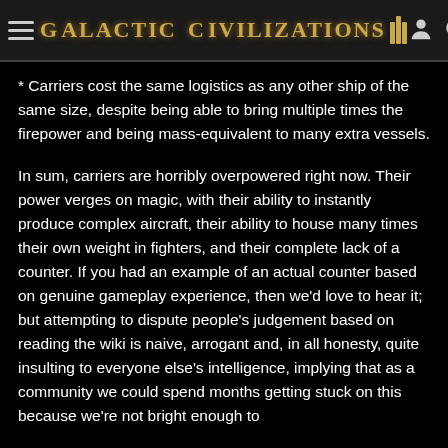Galactic Civilizations III
* Carriers cost the same logistics as any other ship of the same size, despite being able to bring multiple times the firepower and being mass-equivalent to many extra vessels.
In sum, carriers are horribly overpowered right now. Their power verges on magic, with their ability to instantly produce complex aircraft, their ability to house many times their own weight in fighters, and their complete lack of a counter. If you had an example of an actual counter based on genuine gameplay experience, then we'd love to hear it; but attempting to dispute people's judgement based on reading the wiki is naive, arrogant and, in all honesty, quite insulting to everyone else's intelligence, implying that as a community we could spend months getting stuck on this because we're not bright enough to